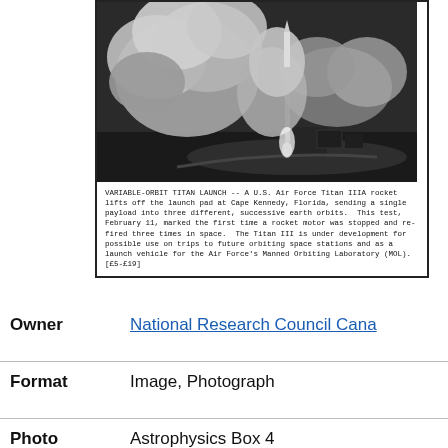[Figure (photo): Black and white photograph of a U.S. Air Force Titan IIIA rocket lifting off the launch pad at Cape Kennedy, Florida, with large clouds of smoke. Caption reads: VARIABLE-ORBIT TITAN LAUNCH -- A U.S. Air Force Titan IIIA rocket lifts off the launch pad at Cape Kennedy, Florida, sending a single payload into three different, successive earth orbits. This test, February 11, marked the first time a rocket motor was stopped and re-fired three times in space. The Titan III is under development for possible use on trips to future orbiting space stations and as a launch vehicle for the Air Force's Manned Orbiting Laboratory (MOL). [£5-£19]]
| Field | Value |
| --- | --- |
| Owner | National Research Council Canada |
| Format | Image, Photograph |
| Photo album | Astrophysics Box 4 |
| Date created | Date unknown |
| Date | 2010-08-13 |